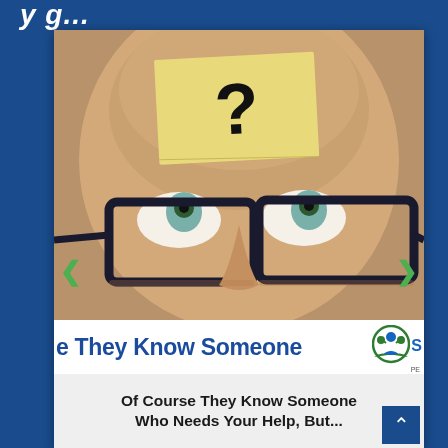y g...
[Figure (photo): Screenshot of a webpage showing a bald man with glasses looking upward, with a yellow sticky note bearing a question mark on his forehead. Navigation arrows (left and right green chevrons) appear on either side. Below the photo is a blue bold heading reading 'e They Know Someone' with a logo partially visible on the right, and below that bold text reading 'Of Course They Know Someone Who Needs Your Help, But...' A blue back-to-top button is in the bottom right corner.]